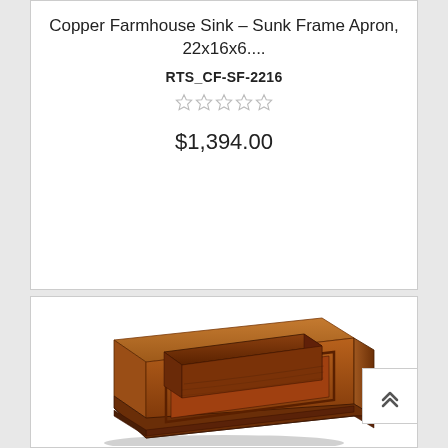Copper Farmhouse Sink - Sunk Frame Apron, 22x16x6....
RTS_CF-SF-2216
$1,394.00
[Figure (photo): Copper farmhouse sink with sunk frame apron design, rectangular shape, shown in a warm brown/copper patina finish, photographed at an angle showing the basin and apron front.]